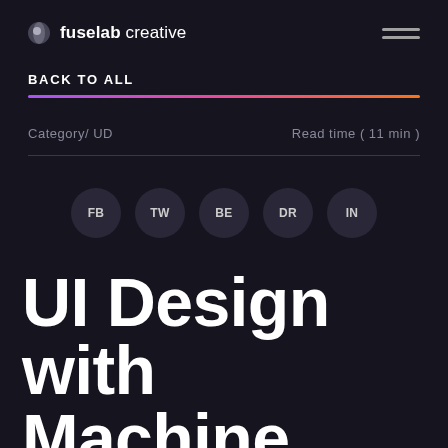fuselab creative
BACK TO ALL
Category/ UD
Read time ( 11 min )
FB  TW  BE  DR  IN
UI Design with Machine